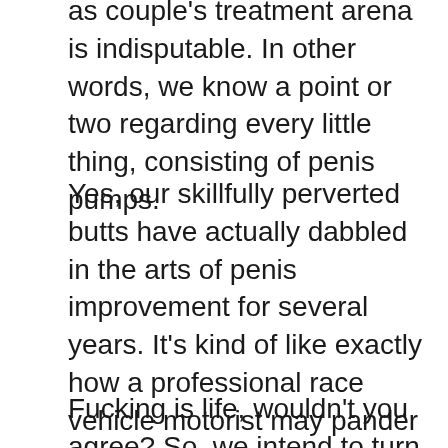Our experience in the sex plaything as well as couple's treatment arena is indisputable. In other words, we know a point or two regarding every little thing, consisting of penis pumps.
Yes, our skillfully perverted butts have actually dabbled in the arts of penis improvement for several years. It's kind of like exactly how a professional race vehicle motorist may pander out his auto because that's his job.
Fucking is life, wouldn't you agree? So, we intend to turn up to the race with the very best cars and truck on the track. That suggests spending a bunch of time testing out the various penis pumps that flood the